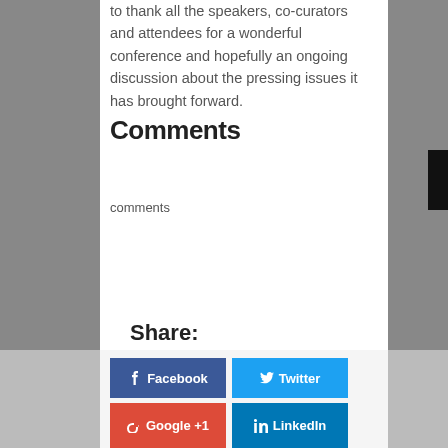to thank all the speakers, co-curators and attendees for a wonderful conference and hopefully an ongoing discussion about the pressing issues it has brought forward.
Comments
comments
Share:
[Figure (other): Facebook share button (blue)]
[Figure (other): Twitter share button (cyan)]
[Figure (other): Google+1 share button (red), partially visible]
[Figure (other): LinkedIn share button (blue), partially visible]